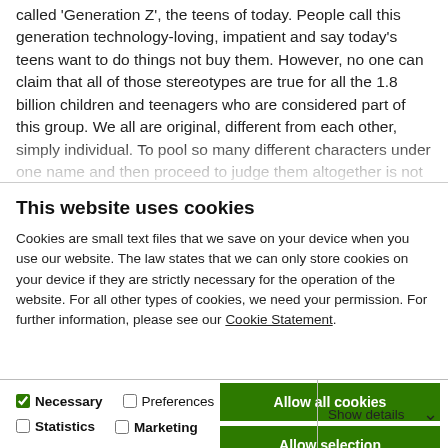called 'Generation Z', the teens of today. People call this generation technology-loving, impatient and say today's teens want to do things not buy them. However, no one can claim that all of those stereotypes are true for all the 1.8 billion children and teenagers who are considered part of this group. We all are original, different from each other, simply individual. To pool so many different characters under one name and then proceed to judge them altogether is not only foolish but also unfair. Some people just don´t fit or want to fit into the stereotypes of their
This website uses cookies
Cookies are small text files that we save on your device when you use our website. The law states that we can only store cookies on your device if they are strictly necessary for the operation of the website. For all other types of cookies, we need your permission. For further information, please see our Cookie Statement.
Allow all cookies
Allow selection
Use necessary cookies only
Necessary  Preferences  Statistics  Marketing  Show details